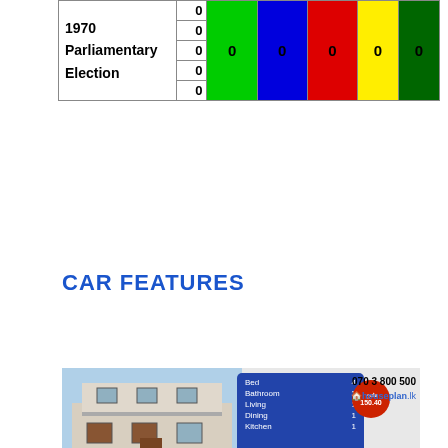|  |  | Green | Blue | Red | Yellow | Dark Green |
| --- | --- | --- | --- | --- | --- | --- |
|  | 0 | 0 | 0 | 0 | 0 | 0 |
| 1970 | 0 |  |  |  |  |  |
| Parliamentary | 0 |  |  |  |  |  |
| Election | 0 |  |  |  |  |  |
|  | 0 |  |  |  |  |  |
CAR FEATURES
[Figure (photo): Advertisement for houseplan.lk showing a two-story house with room details panel (Bed 4, Bathroom 3, Living 1, Dining 1, Kitchen 1), price badge showing 150.40, phone number 070 3 800 500, and Sinhala text for house sales]